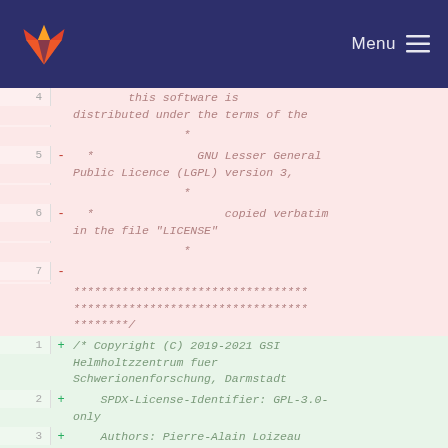GitLab Menu
4   this software is distributed under the terms of the
    *
5 - *               GNU Lesser General Public Licence (LGPL) version 3,
    *
6 - *                   copied verbatim in the file "LICENSE"
    *
7 -
    ******************************************************************
    ********/
1 + /* Copyright (C) 2019-2021 GSI Helmholtzzentrum fuer Schwerionenforschung, Darmstadt
2 +     SPDX-License-Identifier: GPL-3.0-only
3 +     Authors: Pierre-Alain Loizeau [committer] */
4 +